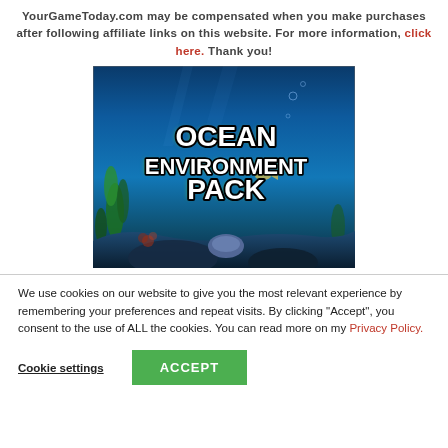YourGameToday.com may be compensated when you make purchases after following affiliate links on this website. For more information, click here. Thank you!
[Figure (illustration): Ocean Environment Pack promotional image showing an underwater scene with blue water, seaweed, rocks, and large bold white text reading 'OCEAN ENVIRONMENT PACK' with green outline glow effect]
We use cookies on our website to give you the most relevant experience by remembering your preferences and repeat visits. By clicking “Accept”, you consent to the use of ALL the cookies. You can read more on my Privacy Policy.
Cookie settings
ACCEPT